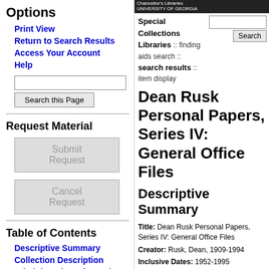Options
Print View
Return to Search Results
Access Your Account
Help
Request Material
Submit Request
Cancel Request
Table of Contents
Descriptive Summary
Collection Description
Administrative Information
[Figure (logo): Chancellor's Libraries University of Georgia logo]
Special Collections Libraries :: finding aids search :: search results :: item display
Dean Rusk Personal Papers, Series IV: General Office Files
Descriptive Summary
Title: Dean Rusk Personal Papers, Series IV: General Office Files
Creator: Rusk, Dean, 1909-1994
Inclusive Dates: 1952-1995